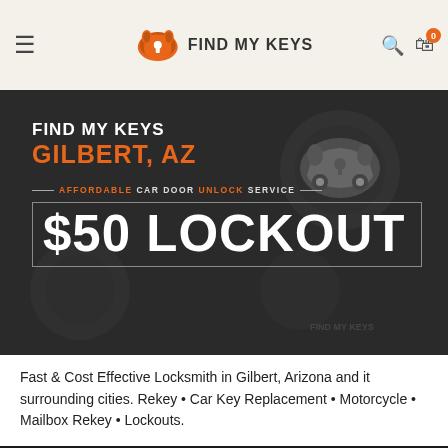FIND MY KEYS
[Figure (screenshot): Hero banner with dark background showing car keys/lock imagery. Text reads: FIND MY KEYS / GILBERT, AZ / AFFORDABLE CAR DOOR UNLOCK SERVICE / $50 LOCKOUT. Car logo icon on right side.]
Fast & Cost Effective Locksmith in Gilbert, Arizona and it surrounding cities. Rekey • Car Key Replacement • Motorcycle • Mailbox Rekey • Lockouts.
Key Replacement Cost